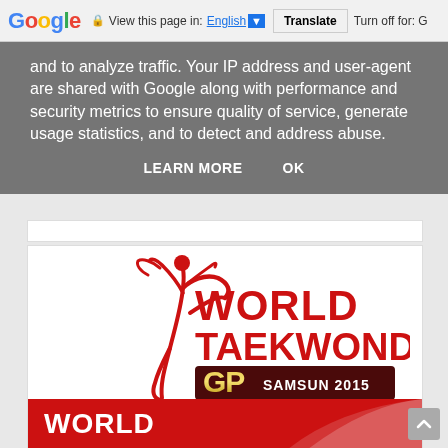Google — View this page in: English [▼] Translate | Turn off for: G
and to analyze traffic. Your IP address and user-agent are shared with Google along with performance and security metrics to ensure quality of service, generate usage statistics, and to detect and address abuse.
LEARN MORE   OK
[Figure (logo): World Taekwondo GP Samsun 2015 logo — red taekwondo figure silhouette, red bold text WORLD TAEKWONDO, gold and dark red GP badge with SAMSUN 2015 text]
WORLD